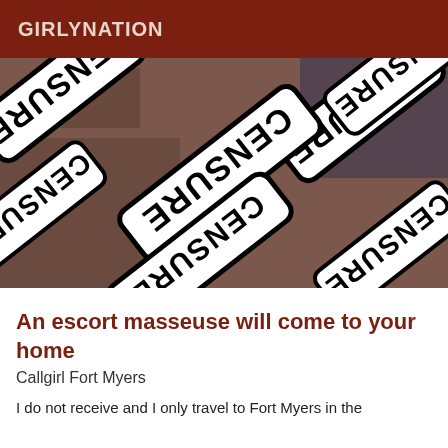GIRLYNATION
[Figure (photo): A censored image with multiple overlapping white rectangular signs with black borders reading 'CENSURE' in bold black stencil text, rotated at various angles, partially obscuring content underneath.]
An escort masseuse will come to your home
Callgirl Fort Myers
I do not receive and I only travel to Fort Myers in the